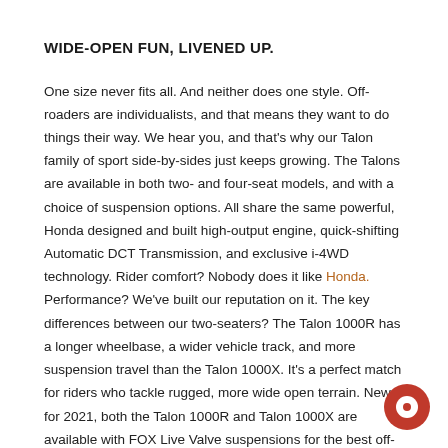WIDE-OPEN FUN, LIVENED UP.
One size never fits all. And neither does one style. Off-roaders are individualists, and that means they want to do things their way. We hear you, and that's why our Talon family of sport side-by-sides just keeps growing. The Talons are available in both two- and four-seat models, and with a choice of suspension options. All share the same powerful, Honda designed and built high-output engine, quick-shifting Automatic DCT Transmission, and exclusive i-4WD technology. Rider comfort? Nobody does it like Honda. Performance? We've built our reputation on it. The key differences between our two-seaters? The Talon 1000R has a longer wheelbase, a wider vehicle track, and more suspension travel than the Talon 1000X. It's a perfect match for riders who tackle rugged, more wide open terrain. New for 2021, both the Talon 1000R and Talon 1000X are available with FOX Live Valve suspensions for the best off-road handling you've ever experienced. Further proof th